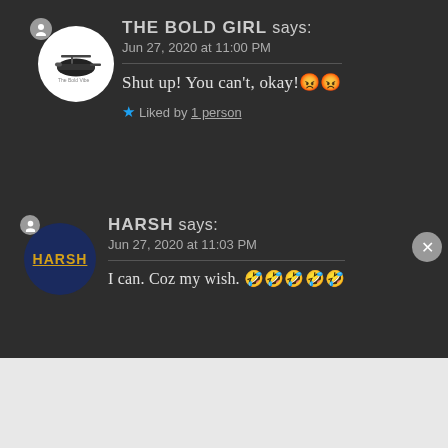THE BOLD GIRL says: Jun 27, 2020 at 11:00 PM
Shut up! You can't, okay! 😡😡
★ Liked by 1 person
HARSH says: Jun 27, 2020 at 11:03 PM
I can. Coz my wish. 🤣🤣🤣🤣🤣
Advertisements
[Figure (logo): WordPress VIP logo]
[Figure (other): Advertisement banner with gradient and Learn more button]